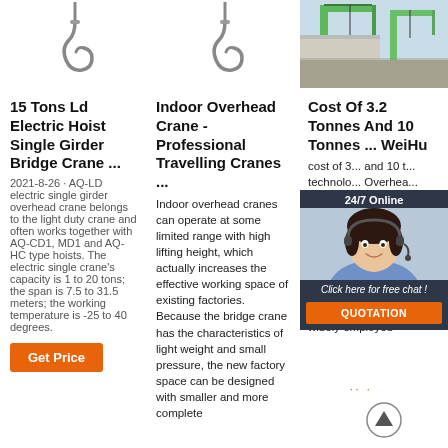[Figure (illustration): Three columns: first two show hook icons (crane hooks), third shows a photo of green cranes/construction equipment]
15 Tons Ld Electric Hoist Single Girder Bridge Crane ...
2021-8-26 · AQ-LD electric single girder overhead crane belongs to the light duty crane and often works together with AQ-CD1, MD1 and AQ-HC type hoists. The electric single crane's capacity is 1 to 20 tons; the span is 7.5 to 31.5 meters; the working temperature is -25 to 40 degrees.
[Figure (other): Get Price orange button]
Indoor Overhead Crane - Professional Travelling Cranes ...
Indoor overhead cranes can operate at some limited range with high lifting height, which actually increases the effective working space of existing factories. Because the bridge crane has the characteristics of light weight and small pressure, the new factory space can be designed with smaller and more complete
Cost Of 3.2 Tonnes And 10 Tonnes ... WeiHu
cost of 3... and 10 t... technolo... Overhead... Excellence... Solution... overhead... has vari... and working conditions if you need a 10-ton crane, come regarding us, we will make it available for your facility.The 10... overhead crane can be widely employed
[Figure (other): 24/7 Online chat widget with female agent avatar, 'Click here for free chat!' text and QUOTATION button]